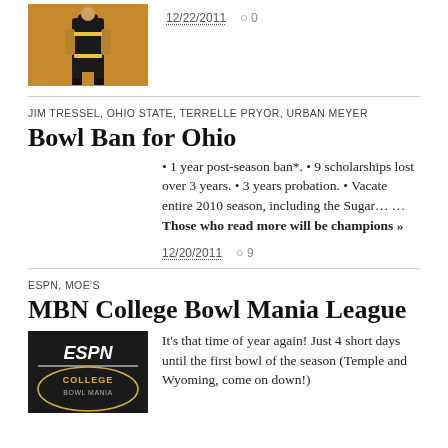[Figure (photo): Photo of a person in black and yellow outfit standing on a wooden floor, brownish-orange background]
12/22/2011  ○ 0
JIM TRESSEL, OHIO STATE, TERRELLE PRYOR, URBAN MEYER
Bowl Ban for Ohio
• 1 year post-season ban*. • 9 scholarships lost over 3 years. • 3 years probation. • Vacate entire 2010 season, including the Sugar… … Those who read more will be champions »
12/20/2011  ○ 9
ESPN, MOE'S
MBN College Bowl Mania League
[Figure (photo): ESPN College Bowl Mania logo on dark background]
It's that time of year again! Just 4 short days until the first bowl of the season (Temple and Wyoming, come on down!)